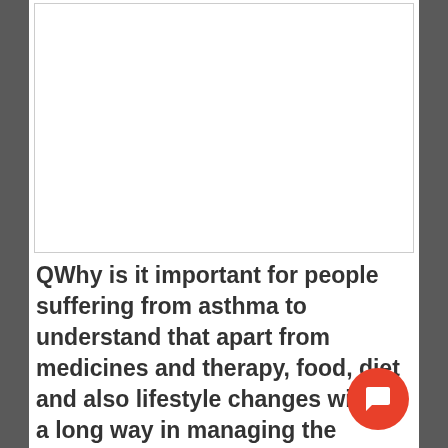[Figure (photo): White blank image placeholder area at top of page]
QWhy is it important for people suffering from asthma to understand that apart from medicines and therapy, food, diet and also lifestyle changes will go a long way in managing the disease? What compliance level amongst Indians?